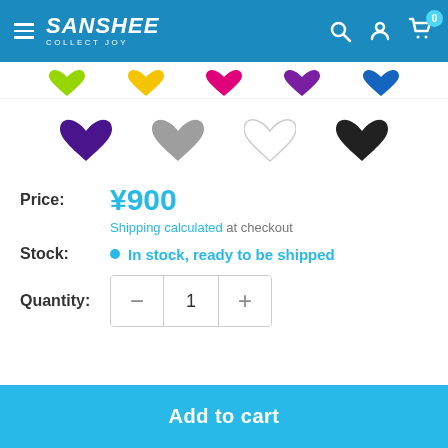Sanshee - Collect Joy
[Figure (illustration): Colorful heart-shaped icons in multiple colors (lime, yellow, pink, purple, blue) shown as color swatches at top]
[Figure (illustration): Heart-shaped icons in four colors: purple, gray, white, and black shown as color swatches]
Price: ¥900
Shipping calculated at checkout
Stock: In stock, ready to be shipped
Quantity: 1
Add to cart